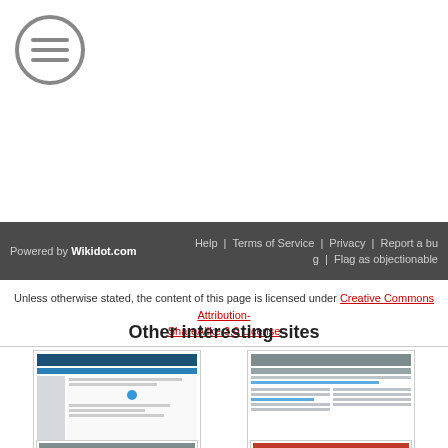[Figure (logo): Menu/hamburger icon — circular grey icon with three horizontal lines]
Powered by Wikidot.com   Help | Terms of Service | Privacy | Report a bug | Flag as objectionable
Unless otherwise stated, the content of this page is licensed under Creative Commons Attribution-ShareAlike 3.0 License
Other interesting sites
[Figure (screenshot): Screenshot thumbnail of IB Physics Stuff website]
IB Physics Stuff
- Wikified -
[Figure (screenshot): Screenshot thumbnail of Horizons website]
Horizons
The RP about how it all continued... maybe.
[Figure (screenshot): Screenshot thumbnail of a fourth website (partially visible)]
[Figure (screenshot): Screenshot thumbnail of a fifth website with red header (partially visible)]